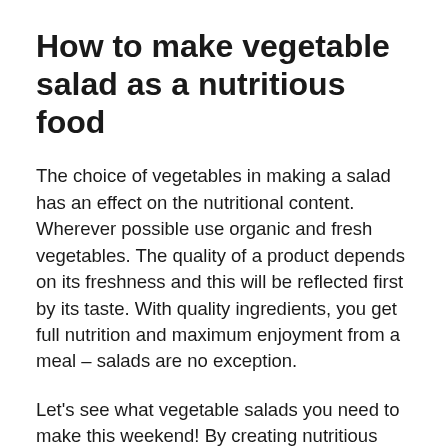How to make vegetable salad as a nutritious food
The choice of vegetables in making a salad has an effect on the nutritional content. Wherever possible use organic and fresh vegetables. The quality of a product depends on its freshness and this will be reflected first by its taste. With quality ingredients, you get full nutrition and maximum enjoyment from a meal – salads are no exception.
Let's see what vegetable salads you need to make this weekend! By creating nutritious food, we will help maintain the nutrition and immune system of ourselves and our loved ones.